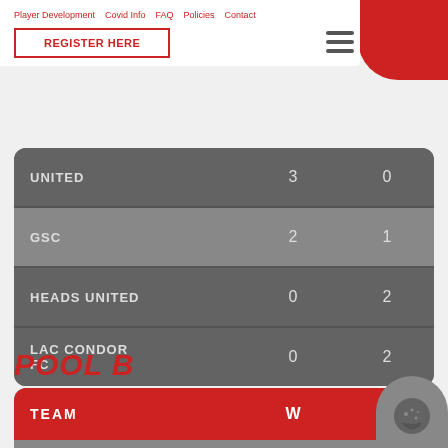Player Development  Covid Info  FAQ  Policies  Contact
REGISTER HERE
| TEAM | W | L |
| --- | --- | --- |
| UNITED | 3 | 0 |
| GSC | 2 | 1 |
| HEADS UNITED | 0 | 2 |
| LAC CONDOR FC | 0 | 2 |
POOL B
| TEAM | W | L |
| --- | --- | --- |
| OTTAWA CITY | 2 | 0 |